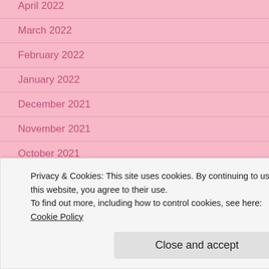April 2022
March 2022
February 2022
January 2022
December 2021
November 2021
October 2021
September 2021
August 2021
July 2021
June 2021
Privacy & Cookies: This site uses cookies. By continuing to use this website, you agree to their use.
To find out more, including how to control cookies, see here: Cookie Policy
Close and accept